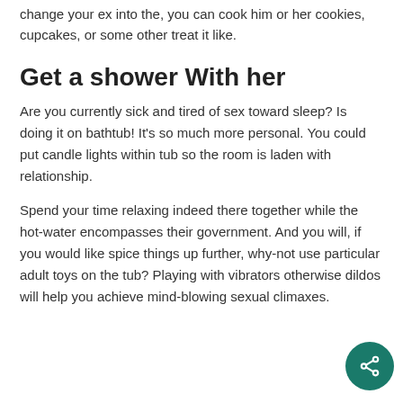change your ex into the, you can cook him or her cookies, cupcakes, or some other treat it like.
Get a shower With her
Are you currently sick and tired of sex toward sleep? Is doing it on bathtub! It’s so much more personal. You could put candle lights within tub so the room is laden with relationship.
Spend your time relaxing indeed there together while the hot-water encompasses their government. And you will, if you would like spice things up further, why-not use particular adult toys on the tub? Playing with vibrators otherwise dildos will help you achieve mind-blowing sexual climaxes.